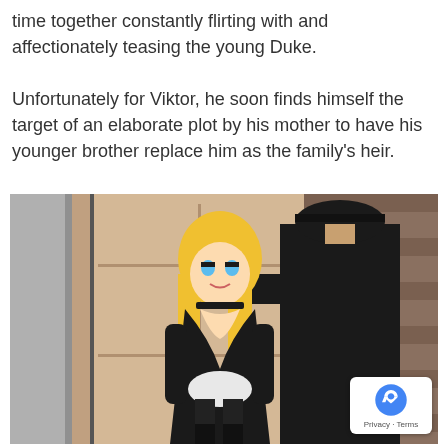time together constantly flirting with and affectionately teasing the young Duke.

Unfortunately for Viktor, he soon finds himself the target of an elaborate plot by his mother to have his younger brother replace him as the family's heir.
[Figure (illustration): Anime-style illustration showing a blonde female character in a black outfit with a choker and pendant, facing a tall male character in a black suit and hat, standing near a wooden door.]